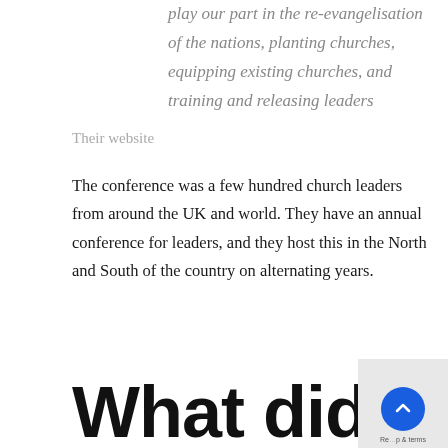play our part in the re-evangelisation of the nations, planting churches, equipping existing churches, and training and releasing leaders
Their website
The conference was a few hundred church leaders from around the UK and world. They have an annual conference for leaders, and they host this in the North and South of the country on alternating years.
What did I do